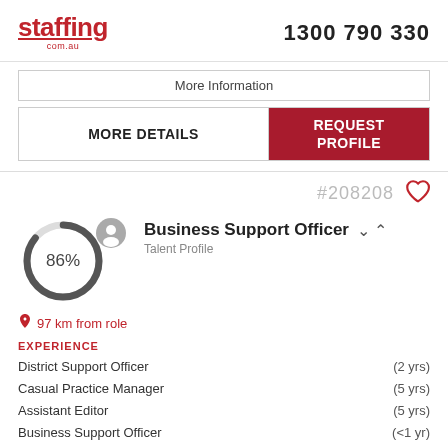staffing.com.au  1300 790 330
More Information
MORE DETAILS  |  REQUEST PROFILE
#208208
[Figure (other): Circular progress indicator showing 86% completion with a grey donut chart, and a grey avatar icon overlapping the top-right]
Business Support Officer
Talent Profile
97 km from role
EXPERIENCE
District Support Officer  (2 yrs)
Casual Practice Manager  (5 yrs)
Assistant Editor  (5 yrs)
Business Support Officer  (<1 yr)
+3 More